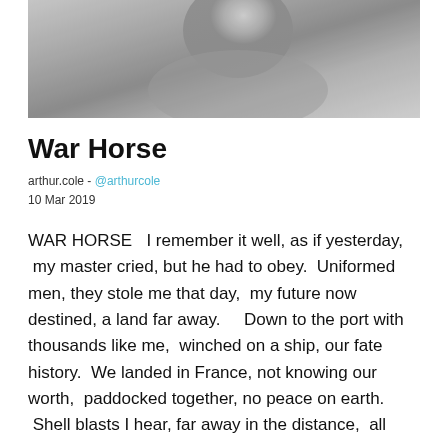[Figure (photo): Black and white photograph of a person, cropped at top of page]
War Horse
arthur.cole - @arthurcole
10 Mar 2019
WAR HORSE   I remember it well, as if yesterday,  my master cried, but he had to obey.  Uniformed men, they stole me that day,  my future now destined, a land far away.    Down to the port with thousands like me,  winched on a ship, our fate history.  We landed in France, not knowing our worth,  paddocked together, no peace on earth.  Shell blasts I hear, far away in the distance,  all